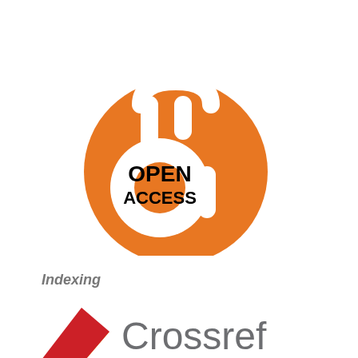[Figure (logo): Open Access logo: orange circle with white unlocked padlock shape and text 'OPEN ACCESS' in bold black]
Indexing
[Figure (logo): Crossref logo: red and yellow geometric shapes (triangles) with 'Crossref' text in grey]